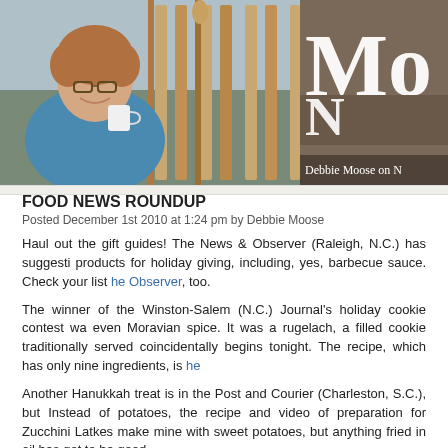[Figure (photo): Header banner photo of a smiling woman with short curly hair wearing a blue top, holding a white mug, seated near wooden rocking chairs on a porch. Text overlay reads 'Mo' in large white serif font and 'Debbie Moose on N' in smaller white text at bottom right.]
FOOD NEWS ROUNDUP
Posted December 1st 2010 at 1:24 pm by Debbie Moose
Haul out the gift guides! The News & Observer (Raleigh, N.C.) has suggesti products for holiday giving, including, yes, barbecue sauce. Check your list he Observer, too.
The winner of the Winston-Salem (N.C.) Journal's holiday cookie contest wa even Moravian spice. It was a rugelach, a filled cookie traditionally served coincidentally begins tonight. The recipe, which has only nine ingredients, is he
Another Hanukkah treat is in the Post and Courier (Charleston, S.C.), but Instead of potatoes, the recipe and video of preparation for Zucchini Latkes make mine with sweet potatoes, but anything fried in oil has got to be good.
More on latkes is at JanNorris.com, this time gluten-free, low-carb Cauliflower here.